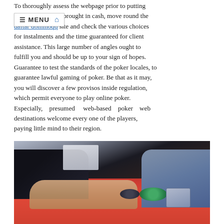To thoroughly assess the webpage prior to putting any amount brought in cash, move round the daftar dominoqq site and check the various choices for instalments and the time guaranteed for client assistance. This large number of angles ought to fulfill you and should be up to your sign of hopes. Guarantee to test the standards of the poker locales, to guarantee lawful gaming of poker. Be that as it may, you will discover a few provisos inside regulation, which permit everyone to play online poker. Especially, presumed web-based poker web destinations welcome every one of the players, paying little mind to their region.
[Figure (photo): A photo of two people at a poker table. On the left, a person in a black jacket with hands visible on the red felt table. On the right, a person in a blue/grey suit holding playing cards. Green poker chips and black chips/dice are visible on the table.]